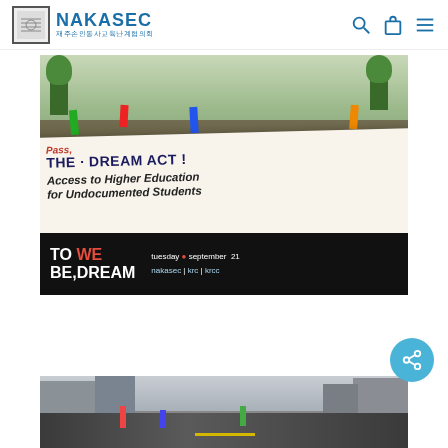NAKASEC 재주손인동사교육난계협의회
[Figure (photo): Protest crowd marching with a large banner reading 'Pass THE DREAM ACT! Access to Higher Education for Undocumented Students'. Bottom strip shows event branding: 'TO WE / BE, DREAM' with 'tuesday • september 21 / nakasec | krc | krcc']
[Figure (photo): Street protest scene showing crowd marching in an urban area with buildings in the background]